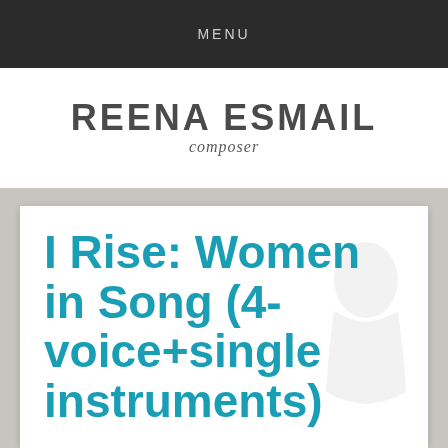MENU
REENA ESMAIL composer
[Figure (logo): Reena Esmail composer logo with bold uppercase name and italic cursive subtitle]
I Rise: Women in Song (4-voice+single instruments)